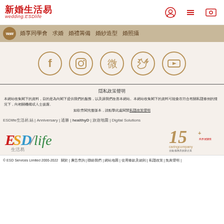新婚生活易 wedding.ESDlife
[Figure (screenshot): Navigation bar with categories: 婚享同學會, 求婚, 婚禮籌備, 婚紗造型, 婚照攝]
[Figure (infographic): Social media icons: Facebook, Instagram, Weibo, Twitter, YouTube in circular gold outlines]
隱私政策聲明
本網站收集閣下的資料，目的是為向閣下提供我們的服務，以及讓我們改善本網站。本網站收集閣下的資料可能會在符合有關私隱條例的情況下，向相關機構或人士披露。
如欲查閱完整版本，請點擊此處閱覽私隱政策聲明
ESDlife生活易 結 | Anniversary | 通勝 | healthyD | 旅遊地圖 | Digital Solutions
[Figure (logo): ESDlife 生活易 logo with colorful stylized text]
[Figure (logo): 15+ years Caring Company award logo with 商界展關懷 text]
© ESD Services Limited 2000-2022  關於 | 廣告查詢 | 聯絡我們 | 網站地圖 | 使用條款及細則 | 私隱政策 | 免責聲明 |